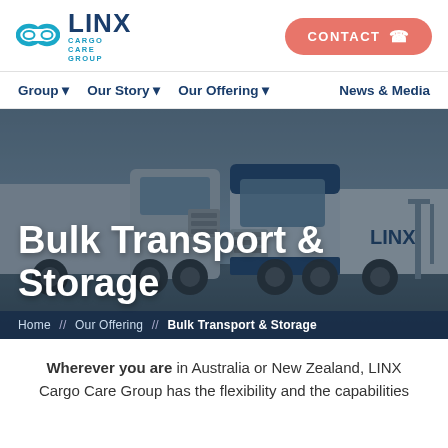[Figure (logo): LINX Cargo Care Group logo with teal chain-link icon and dark blue text]
CONTACT
Group ▼   Our Story ▼   Our Offering ▼   News & Media
[Figure (photo): Two large white LINX-branded semi-trucks parked side by side at a transport yard, overcast sky background]
Bulk Transport & Storage
Home // Our Offering // Bulk Transport & Storage
Wherever you are in Australia or New Zealand, LINX Cargo Care Group has the flexibility and the capabilities